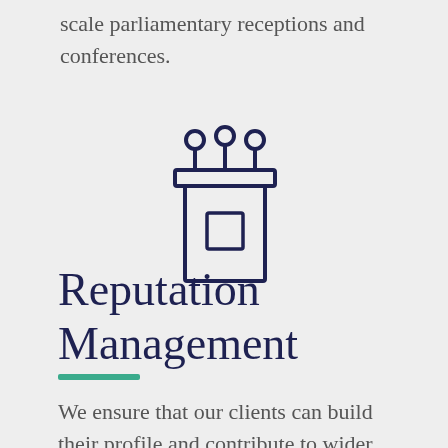scale parliamentary receptions and conferences.
[Figure (illustration): Line-art icon of a podium/lectern with three microphones on top and a small square emblem on the front face.]
Reputation Management
We ensure that our clients can build their profile and contribute to wider conversations